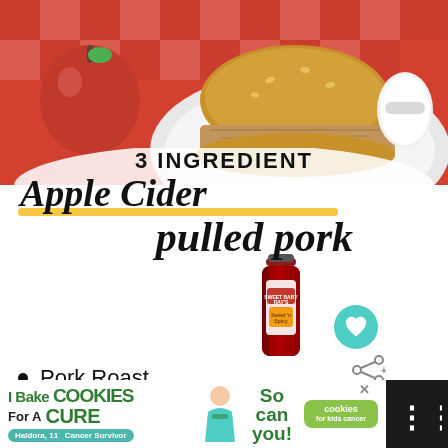[Figure (photo): A pulled pork sandwich on a white plate on red checkered tablecloth, with a red apple and a rolled white napkin with rhinestone napkin ring in the background.]
3 INGREDIENT Apple Cider pulled pork
[Figure (photo): BBQ sauce bottle (Sweet Baby Ray's), a wine/cider bottle, and a small food dish with what appears to be a casserole.]
Pork Roast
Apple Cider
Barbecue Sauce
[Figure (advertisement): Banner ad: I Bake COOKIES For A CURE, Haldora, 11 Cancer Survivor. So can you! Cookies for Kids Cancer.]